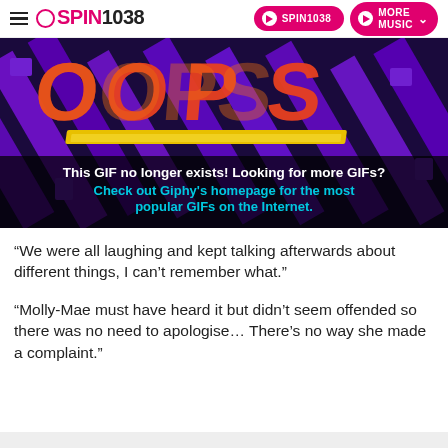SPIN1038 | SPIN1038 | MORE MUSIC
[Figure (screenshot): Giphy 'OOPS' error page graphic on dark purple background with text: 'This GIF no longer exists! Looking for more GIFs? Check out Giphy's homepage for the most popular GIFs on the Internet.']
“We were all laughing and kept talking afterwards about different things, I can’t remember what.”
“Molly-Mae must have heard it but didn’t seem offended so there was no need to apologise… There’s no way she made a complaint.”